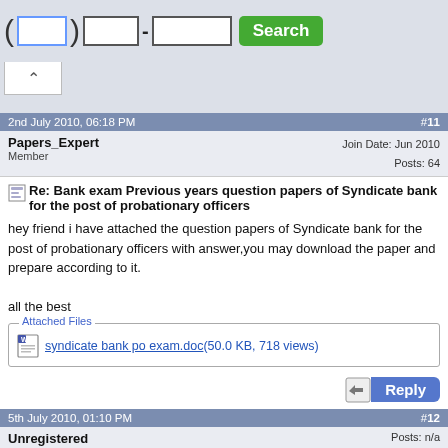[Figure (screenshot): Top search bar with input fields and green Search button, and collapse arrow tab]
2nd July 2010, 06:18 PM   #11
Papers_Expert
Member
Join Date: Jun 2010
Posts: 64
Re: Bank exam Previous years question papers of Syndicate bank for the post of probationary officers
hey friend i have attached the question papers of Syndicate bank for the post of probationary officers with answer,you may download the paper and prepare according to it.

all the best
Attached Files
syndicate bank po exam.doc(50.0 KB, 718 views)
5th July 2010, 01:10 PM   #12
Unregistered
Guest
Posts: n/a